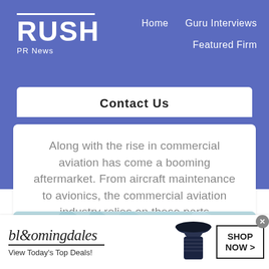RUSH PR News | Home | Guru Interviews | Featured Firm
Contact Us
Along with the rise in commercial aviation has come a booming aftermarket. From aircraft maintenance to avionics, the commercial aviation industry relies on these parts
Business
[Figure (screenshot): Bloomingdales advertisement banner with woman in hat, text: bloomingdales, View Today's Top Deals!, SHOP NOW >]